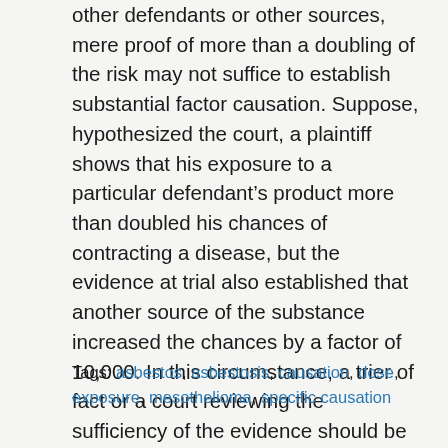other defendants or other sources, mere proof of more than a doubling of the risk may not suffice to establish substantial factor causation. Suppose, hypothesized the court, a plaintiff shows that his exposure to a particular defendant’s product more than doubled his chances of contracting a disease, but the evidence at trial also established that another source of the substance increased the chances by a factor of 10,000. In this circumstance, a trier of fact or a court reviewing the sufficiency of the evidence should be allowed to conclude that the defendant’s product was not a substantial factor in causing the disease.
Tags: asbestos, asbestosis, causation, dose, exposure, mesothelioma, specific causation